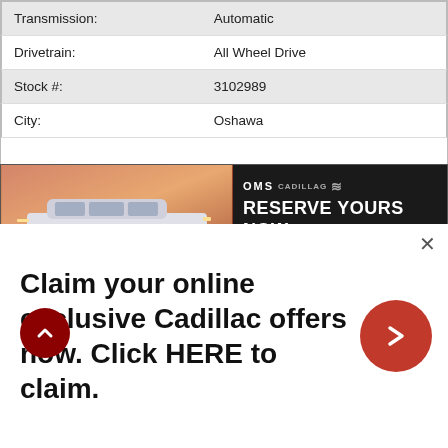| Transmission: | Automatic |
| Drivetrain: | All Wheel Drive |
| Stock #: | 3102989 |
| City: | Oshawa |
[Figure (screenshot): OMS Cadillac dealership ad banner showing a silver CT5 sedan against a sunset background, with 'RESERVE YOURS NOW' text on dark background]
[Figure (infographic): Dark red banner reading 'WINDOW STICKER AND SPECIFICATIONS' with a gold 'CLICK HERE' button below]
NAVIGATION AND BOSE PREMIUM AUDIO PACKAGE:
Claim your online exclusive Cadillac offers now. Click HERE to claim.